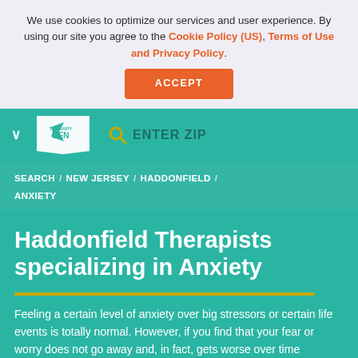We use cookies to optimize our services and user experience. By using our site you agree to the Cookie Policy (US), Terms of Use and Privacy Policy.
ACCEPT
[Figure (logo): Therapy Den logo - white tag shape with plane icon and text THERAPY DEN on teal background]
ENTER ZIP
SEARCH / NEW JERSEY / HADDONFIELD / ANXIETY
Haddonfield Therapists specializing in Anxiety
Feeling a certain level of anxiety over big stressors or certain life events is totally normal. However, if you find that your fear or worry does not go away and, in fact, gets worse over time